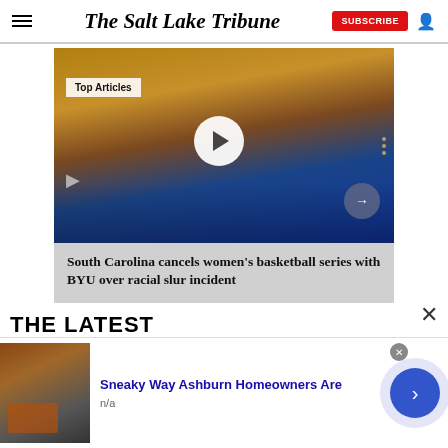The Salt Lake Tribune
[Figure (screenshot): Basketball game photo showing women players near the basket, with a play button overlay and 'Top Articles' badge. Article card for Salt Lake Tribune.]
South Carolina cancels women's basketball series with BYU over racial slur incident
THE LATEST
[Figure (photo): Advertisement showing a person working on a rooftop, for Sneaky Way Ashburn Homeowners Are]
Sneaky Way Ashburn Homeowners Are
n/a